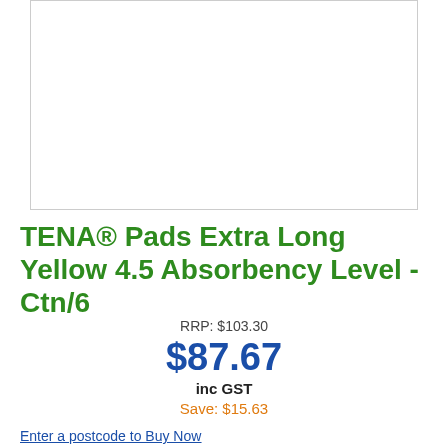[Figure (photo): Product image placeholder (white box with border)]
TENA® Pads Extra Long Yellow 4.5 Absorbency Level - Ctn/6
RRP: $103.30
$87.67
inc GST
Save: $15.63
Enter a postcode to Buy Now